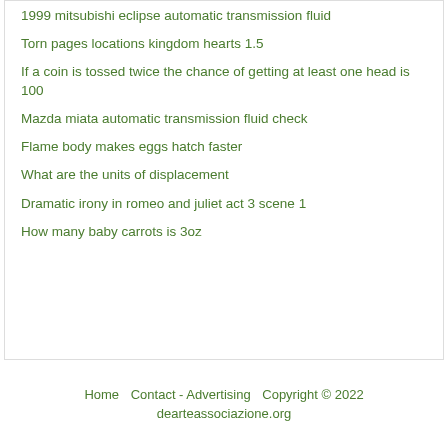1999 mitsubishi eclipse automatic transmission fluid
Torn pages locations kingdom hearts 1.5
If a coin is tossed twice the chance of getting at least one head is 100
Mazda miata automatic transmission fluid check
Flame body makes eggs hatch faster
What are the units of displacement
Dramatic irony in romeo and juliet act 3 scene 1
How many baby carrots is 3oz
Home   Contact - Advertising   Copyright © 2022
dearteassociazione.org